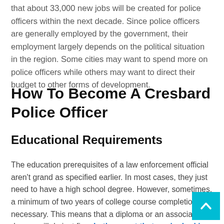that about 33,000 new jobs will be created for police officers within the next decade. Since police officers are generally employed by the government, their employment largely depends on the political situation in the region. Some cities may want to spend more on police officers while others may want to direct their budget to other forms of development.
How To Become A Cresbard Police Officer
Educational Requirements
The education prerequisites of a law enforcement official aren't grand as specified earlier. In most cases, they just need to have a high school degree. However, sometimes, a minimum of two years of college course completion is necessary. This means that a diploma or an associate's degree will do just fine. In the event that you're looking to enter another division like cyber-crime or forensics, you may need to have a more advanced education. To be assigned to the federal level, you must have a four-year college